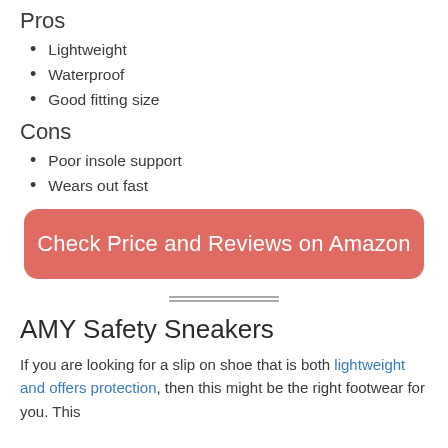Pros
Lightweight
Waterproof
Good fitting size
Cons
Poor insole support
Wears out fast
[Figure (other): Red rounded button with text 'Check Price and Reviews on Amazon']
AMY Safety Sneakers
If you are looking for a slip on shoe that is both lightweight and offers protection, then this might be the right footwear for you. This